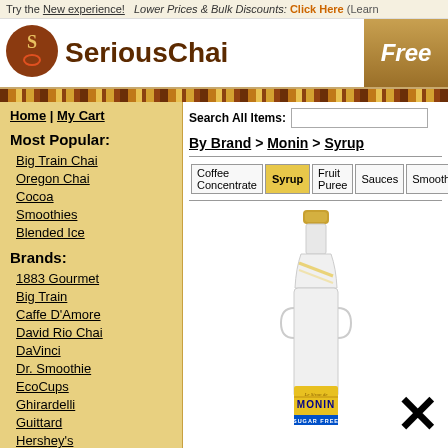Try the New experience! Lower Prices & Bulk Discounts: Click Here (Learn
[Figure (logo): SeriousChai logo with brown circle containing an S swirl design and text SeriousChai]
Free
My C
Home | My Cart
Most Popular:
Big Train Chai
Oregon Chai
Cocoa
Smoothies
Blended Ice
Brands:
1883 Gourmet
Big Train
Caffe D'Amore
David Rio Chai
DaVinci
Dr. Smoothie
EcoCups
Ghirardelli
Guittard
Hershey's
Jet
Lavazza
Search All Items:
By Brand > Monin > Syrup
| Coffee Concentrate | Syrup | Fruit Puree | Sauces | Smoothies |
| --- | --- | --- | --- | --- |
[Figure (photo): Monin Sugar Free syrup bottle with gold cap, white body, and yellow label at bottom showing MONIN SUGAR FREE branding]